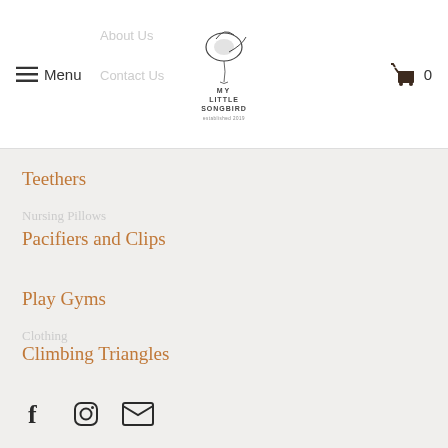Menu | My Little Songbird logo | Cart 0
About Us
Contact Us
Teethers
Pacifiers and Clips
Play Gyms
Climbing Triangles
[Figure (other): Social media icons: Facebook, Instagram, Email]
Montessori Inspired Toys
Our goal is to create teethers and toys that inspire creativity and foster imagination in your little ones. We're a husband and wife team